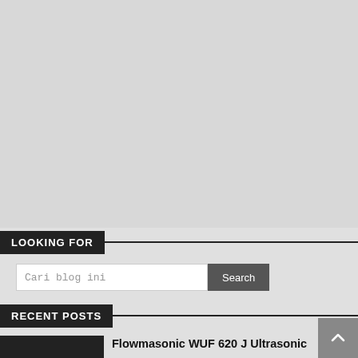[Figure (other): Large gray placeholder/advertisement area filling the upper portion of the page]
LOOKING FOR
Cari blog ini
Search
RECENT POSTS
Flowmasonic WUF 620 J Ultrasonic